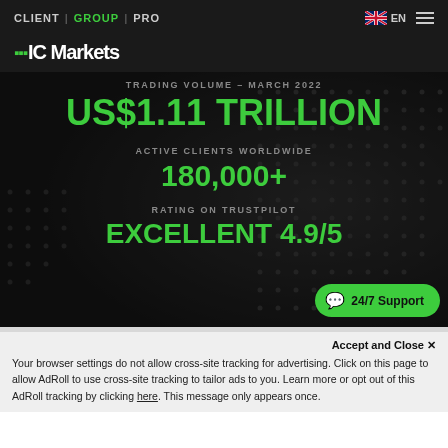CLIENT | GROUP | PRO  EN  ☰
[Figure (logo): IC Markets logo with green bar chart icon]
[Figure (infographic): Dark hero banner with dot-matrix globe background showing trading statistics: TRADING VOLUME - MARCH 2022: US$1.11 TRILLION, ACTIVE CLIENTS WORLDWIDE: 180,000+, RATING ON TRUSTPILOT: EXCELLENT 4.9/5]
Accept and Close ✕
Your browser settings do not allow cross-site tracking for advertising. Click on this page to allow AdRoll to use cross-site tracking to tailor ads to you. Learn more or opt out of this AdRoll tracking by clicking here. This message only appears once.